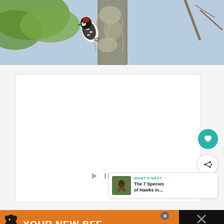[Figure (photo): Close-up photograph of a woodpecker (appears to be a Downy or Hairy Woodpecker) clinging to a tree trunk covered with lichen or Spanish moss. The bird has a speckled black-and-white plumage. Green foliage and bare branches visible in background.]
[Figure (screenshot): White content area below the photo with embedded media player controls (play/pause icons) and floating UI elements: a teal heart (like/save) button and a white share button with a share icon.]
[Figure (infographic): What's Next card showing a thumbnail image of a hawk and the text 'WHAT'S NEXT → The 7 Species of Hawks in...' with a teal label.]
[Figure (infographic): Orange and black advertisement banner at the bottom reading 'YOUR NEW BFF' with a dog silhouette icon on the left, a close button (X), and a dark right panel with an X and temperature icon.]